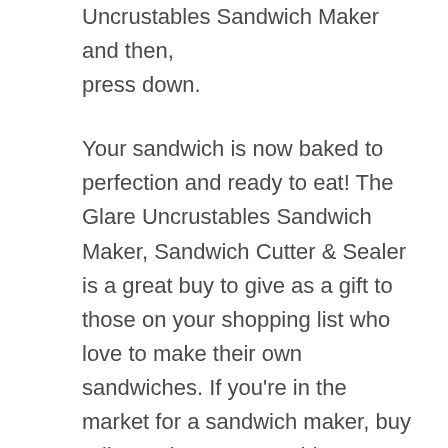Uncrustables Sandwich Maker and then, press down.
Your sandwich is now baked to perfection and ready to eat! The Glare Uncrustables Sandwich Maker, Sandwich Cutter & Sealer is a great buy to give as a gift to those on your shopping list who love to make their own sandwiches. If you're in the market for a sandwich maker, buy Tribe's Glare Uncrustables Sandwich Maker, Sandwich Cutter & Sealer today!
Why We Picked It: